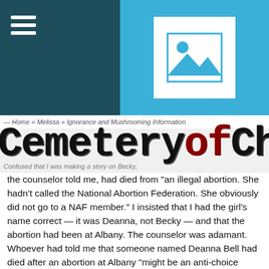[Figure (screenshot): Website header with dark teal hamburger menu on left, blue background with image placeholder icon on right]
CemeteryofCh
the counselor told me, had died from "an illegal abortion. She hadn't called the National Abortion Federation. She obviously did not go to a NAF member." I insisted that I had the girl's name correct — it was Deanna, not Becky — and that the abortion had been at Albany. The counselor was adamant. Whoever had told me that someone named Deanna Bell had died after an abortion at Albany "might be an anti-choice person."
There is no doubt in my mind that the counsellor